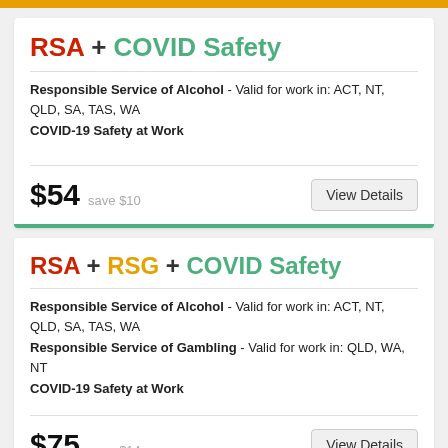RSA + COVID Safety
Responsible Service of Alcohol - Valid for work in: ACT, NT, QLD, SA, TAS, WA
COVID-19 Safety at Work
$54 save $10
RSA + RSG + COVID Safety
Responsible Service of Alcohol - Valid for work in: ACT, NT, QLD, SA, TAS, WA
Responsible Service of Gambling - Valid for work in: QLD, WA, NT
COVID-19 Safety at Work
$75 save $14
RSA + White Card - WA